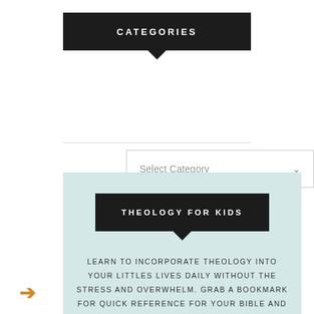CATEGORIES
Select Category
THEOLOGY FOR KIDS
LEARN TO INCORPORATE THEOLOGY INTO YOUR LITTLES LIVES DAILY WITHOUT THE STRESS AND OVERWHELM. GRAB A BOOKMARK FOR QUICK REFERENCE FOR YOUR BIBLE AND A SHEET WITH LONGER EXPLANATIONS FOR YOU MAMA.